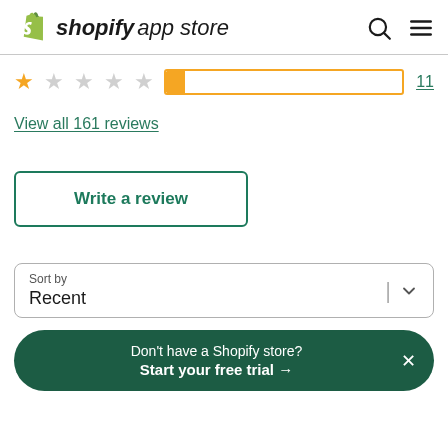shopify app store
[Figure (infographic): 1-star rating row with partially filled yellow progress bar and count 11]
View all 161 reviews
Write a review
Sort by
Recent
Don't have a Shopify store? Start your free trial →